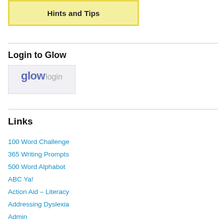[Figure (screenshot): Yellow box with bold text 'Hints and Tips']
Login to Glow
[Figure (logo): Glow login logo with colorful text 'glow' and 'login' on light background]
Links
100 Word Challenge
365 Writing Prompts
500 Word Alphabot
ABC Ya!
Action Aid – Literacy
Addressing Dyslexia
Admin